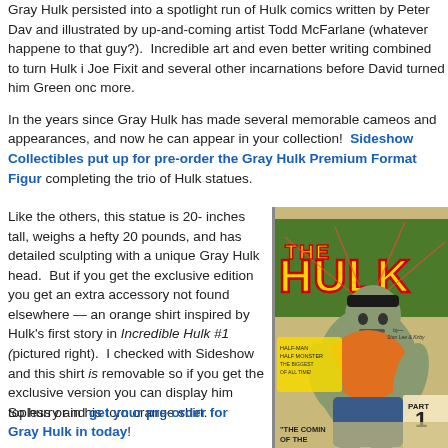Gray Hulk persisted into a spotlight run of Hulk comics written by Peter Dav and illustrated by up-and-coming artist Todd McFarlane (whatever happened to that guy?). Incredible art and even better writing combined to turn Hulk into Joe Fixit and several other incarnations before David turned him Green once more.
In the years since Gray Hulk has made several memorable cameos and appearances, and now he can appear in your collection! Sideshow Collectibles put up for pre-order the Gray Hulk Premium Format Figur completing the trio of Hulk statues.
Like the others, this statue is 20-inches tall, weighs a hefty 20 pounds, and has detailed sculpting with a unique Gray Hulk head. But if you get the exclusive edition you get an extra accessory not found elsewhere — an orange shirt inspired by Hulk's first story in Incredible Hulk #1 (pictured right). I checked with Sideshow and this shirt is removable so if you get the exclusive version you can display him topless or in his torn orange shirt.
[Figure (illustration): Cover of Incredible Hulk #1 comic book showing the gray Hulk in an orange shirt crouching, with title 'THE HULK' in large yellow letters and 'PART 1 THE COMING OF THE...' text at the bottom right.]
So hurry and get your pre-order for Gray Hulk in today!